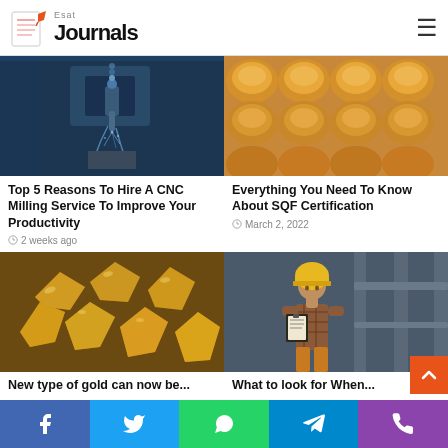Esat Journals
[Figure (photo): CNC milling machine cutting metal with sparks and coolant spray, industrial environment]
[Figure (photo): Rows of freshly baked buns/bread rolls on a baking tray, golden brown color]
Top 5 Reasons To Hire A CNC Milling Service To Improve Your Productivity
Everything You Need To Know About SQF Certification
2 weeks ago
March 2, 2022
[Figure (photo): Chunks and nuggets of shiny gold ore/rocks on a surface]
[Figure (photo): Worker wearing a yellow hard hat and plaid shirt holding a clipboard in an industrial factory setting]
New type of gold can now be...
What to look for When...
Facebook | Twitter | WhatsApp | Telegram | Phone